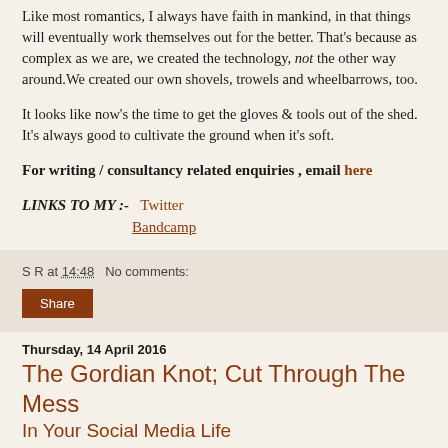Like most romantics, I always have faith in mankind, in that things will eventually work themselves out for the better. That's because as complex as we are, we created the technology, not the other way around. We created our own shovels, trowels and wheelbarrows, too.
It looks like now's the time to get the gloves & tools out of the shed. It's always good to cultivate the ground when it's soft.
For writing / consultancy related enquiries , email here
LINKS TO MY :- Twitter Bandcamp
S R at 14:48  No comments:
Share
Thursday, 14 April 2016
The Gordian Knot; Cut Through The Mess In Your Social Media Life